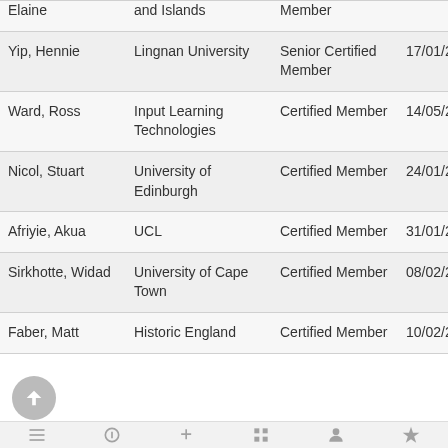| Name | Organisation | Type | Date | Number |
| --- | --- | --- | --- | --- |
| Elaine | and Islands | Member |  |  |
| Yip, Hennie | Lingnan University | Senior Certified Member | 17/01/23 | 221206 |
| Ward, Ross | Input Learning Technologies | Certified Member | 14/05/23 | 221100 |
| Nicol, Stuart | University of Edinburgh | Certified Member | 24/01/23 | 221178 |
| Afriyie, Akua | UCL | Certified Member | 31/01/23 | 221202 |
| Sirkhotte, Widad | University of Cape Town | Certified Member | 08/02/23 | 221064 |
| Faber, Matt | Historic England | Certified Member | 10/02/23 | 221126 |